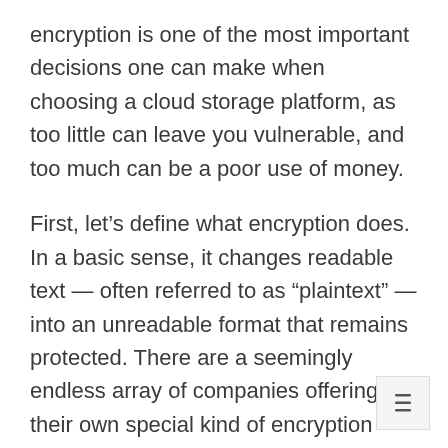encryption is one of the most important decisions one can make when choosing a cloud storage platform, as too little can leave you vulnerable, and too much can be a poor use of money.
First, let’s define what encryption does. In a basic sense, it changes readable text — often referred to as “plaintext” — into an unreadable format that remains protected. There are a seemingly endless array of companies offering their own special kind of encryption services, and attempting to decide which is best for you can be overwhelming.
[Figure (other): Table of contents icon button (three horizontal lines) in bottom-right corner]